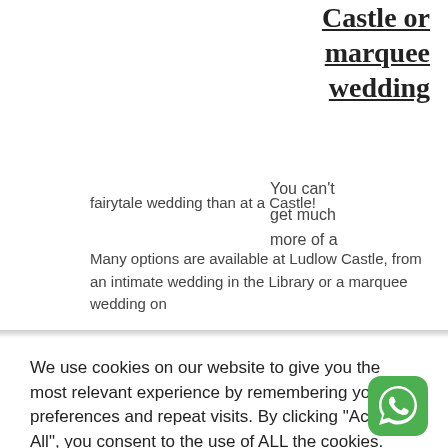Castle or marquee wedding
You can't get much more of a fairytale wedding than at a Castle!
Many options are available at Ludlow Castle, from an intimate wedding in the Library or a marquee wedding on
We use cookies on our website to give you the most relevant experience by remembering your preferences and repeat visits. By clicking "Accept All", you consent to the use of ALL the cookies. However, you may visit "Cookie Settings" to provide a controlled consent.
Cookie Settings | Accept All